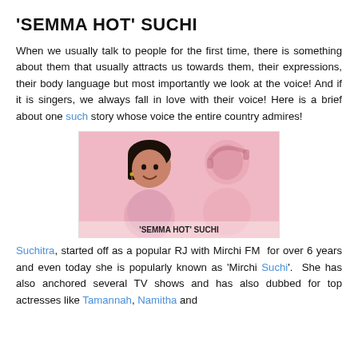‘SEMMA HOT’ SUCHI
When we usually talk to people for the first time, there is something about them that usually attracts us towards them, their expressions, their body language but most importantly we look at the voice! And if it is singers, we always fall in love with their voice! Here is a brief about one such story whose voice the entire country admires!
[Figure (photo): A woman smiling in a pink outfit on the left foreground, and a woman singing into a microphone on the right background, pink-toned image with caption ‘SEMMA HOT’ SUCHI at the bottom.]
Suchitra, started off as a popular RJ with Mirchi FM  for over 6 years and even today she is popularly known as ‘Mirchi Suchi’.  She has also anchored several TV shows and has also dubbed for top actresses like Tamannah, Namitha and